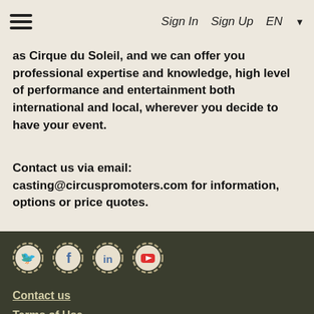Sign In  Sign Up  EN
as Cirque du Soleil, and we can offer you professional expertise and knowledge, high level of performance and entertainment both international and local, wherever you decide to have your event.
Contact us via email: casting@circuspromoters.com for information, options or price quotes.
[Figure (logo): Social media icons: Twitter, Facebook, LinkedIn, YouTube — circular badges with gear/scallop border on dark olive background]
Contact us
Terms of Use
Feedback
Privacy Policy
© Circus Promoters, 2013-2022
Site development: AltSolution®